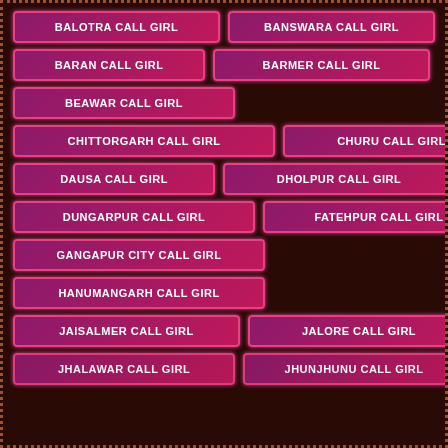BALOTRA CALL GIRL
BANSWARA CALL GIRL
BARAN CALL GIRL
BARMER CALL GIRL
BEAWAR CALL GIRL
CHITTORGARH CALL GIRL
CHURU CALL GIRL
DAUSA CALL GIRL
DHOLPUR CALL GIRL
DUNGARPUR CALL GIRL
FATEHPUR CALL GIRL
GANGAPUR CITY CALL GIRL
HANUMANGARH CALL GIRL
JAISALMER CALL GIRL
JALORE CALL GIRL
JHALAWAR CALL GIRL
JHUNJHUNU CALL GIRL